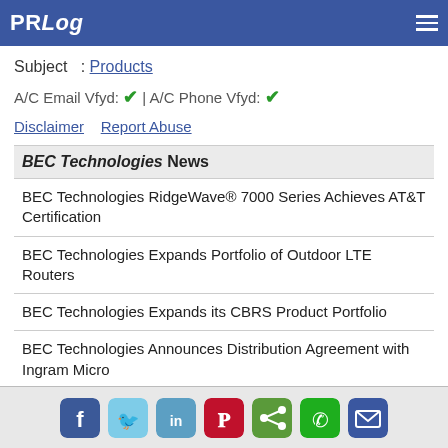PRLog
Subject : Products
A/C Email Vfyd: ✔ | A/C Phone Vfyd: ✔
Disclaimer  Report Abuse
BEC Technologies News
BEC Technologies RidgeWave® 7000 Series Achieves AT&T Certification
BEC Technologies Expands Portfolio of Outdoor LTE Routers
BEC Technologies Expands its CBRS Product Portfolio
BEC Technologies Announces Distribution Agreement with Ingram Micro
BEC Technologies and Star Solutions Partner to Deliver End-to-End CBRS Solution
Social sharing icons: Facebook, Twitter, LinkedIn, Pinterest, Share, WhatsApp, Email